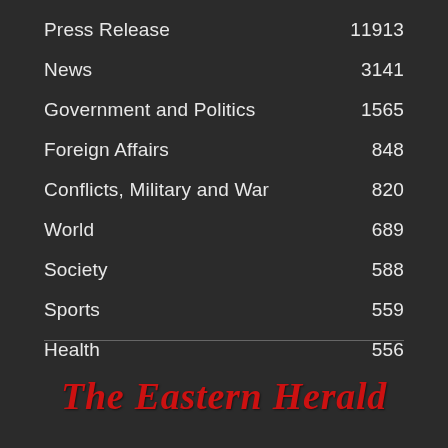Press Release    11913
News    3141
Government and Politics    1565
Foreign Affairs    848
Conflicts, Military and War    820
World    689
Society    588
Sports    559
Health    556
[Figure (logo): The Eastern Herald logo in red gothic/blackletter script on dark background]